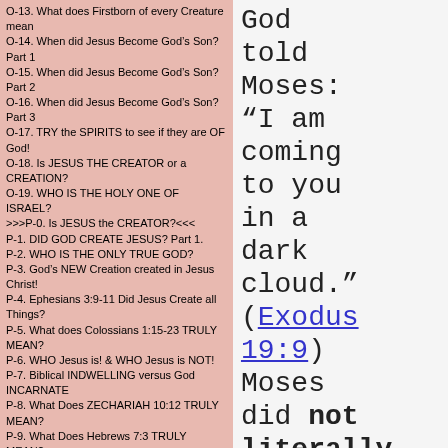O-13. What does Firstborn of every Creature mean
O-14. When did Jesus Become God's Son? Part 1
O-15. When did Jesus Become God's Son? Part 2
O-16. When did Jesus Become God's Son? Part 3
O-17. TRY the SPIRITS to see if they are OF God!
O-18. Is JESUS THE CREATOR or a CREATION?
O-19. WHO IS THE HOLY ONE OF ISRAEL?
>>>P-0. Is JESUS the CREATOR?<<<
P-1. DID GOD CREATE JESUS? Part 1.
P-2. WHO IS THE ONLY TRUE GOD?
P-3. God's NEW Creation created in Jesus Christ!
P-4. Ephesians 3:9-11 Did Jesus Create all Things?
P-5. What does Colossians 1:15-23 TRULY MEAN?
P-6. WHO Jesus is! & WHO Jesus is NOT!
P-7. Biblical INDWELLING versus God INCARNATE
P-8. What Does ZECHARIAH 10:12 TRULY MEAN?
P-9. What Does Hebrews 7:3 TRULY MEAN?
P-10. What Does PHILIPPIANS 2:6 TRULY MEAN?
P-11. What Does IN SPIRIT AND IN TRUTH MEAN?
>>>Q-0. WHY are we HERE?-Is God at WAR?<<<
Q-1. UNDERSTANDING WHY?
Q-2. The GAP Theory and the PRE-ADAMIC Race!
Q-3. Where is God's Throne Located in Heaven?
Q-4. DID GOD CREATE EVIL?
God told Moses: “I am coming to you in a dark cloud.” (Exodus 19:9) Moses did not literally see God.